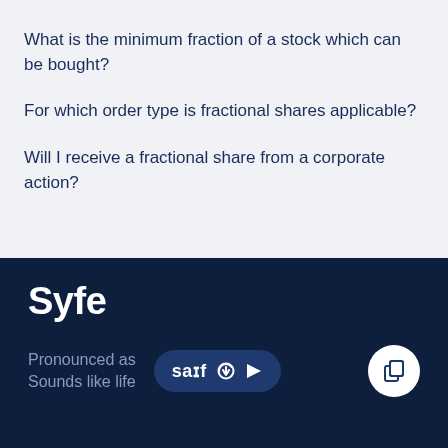What is the minimum fraction of a stock which can be bought?
For which order type is fractional shares applicable?
Will I receive a fractional share from a corporate action?
Syfe
Pronounced as  saif  Sounds like life